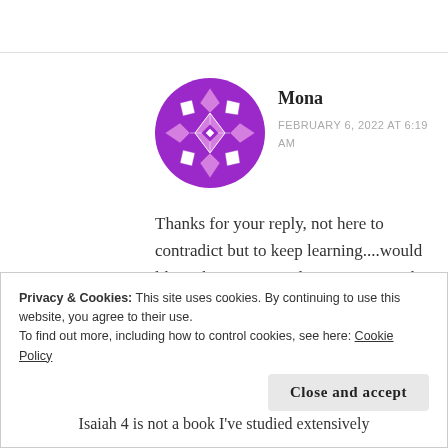[Figure (illustration): Purple geometric snowflake/mandala avatar icon for user Mona]
Mona
FEBRUARY 6, 2022 AT 6:19 AM
Thanks for your reply, not here to contradict but to keep learning....would like to have your explanation on Isaiah 4:1 and 4:3. Thankyou.
★ Like
Privacy & Cookies: This site uses cookies. By continuing to use this website, you agree to their use.
To find out more, including how to control cookies, see here: Cookie Policy
Close and accept
Isaiah 4 is not a book I've studied extensively